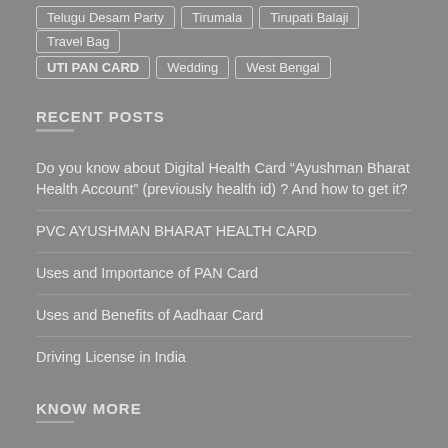Telugu Desam Party
Tirumala
Tirupati Balaji
Travel Bag
UTI PAN CARD
Wedding
West Bengal
RECENT POSTS
Do you know about Digital Health Card “Ayushman Bharat Health Account” (previously health id) ? And how to get it?
PVC AYUSHMAN BHARAT HEALTH CARD
Uses and Importance of PAN Card
Uses and Benefits of Aadhaar Card
Driving License in India
KNOW MORE